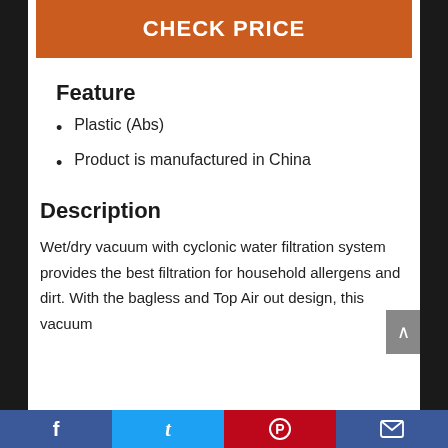CHECK PRICE
Feature
Plastic (Abs)
Product is manufactured in China
Description
Wet/dry vacuum with cyclonic water filtration system provides the best filtration for household allergens and dirt. With the bagless and Top Air out design, this vacuum